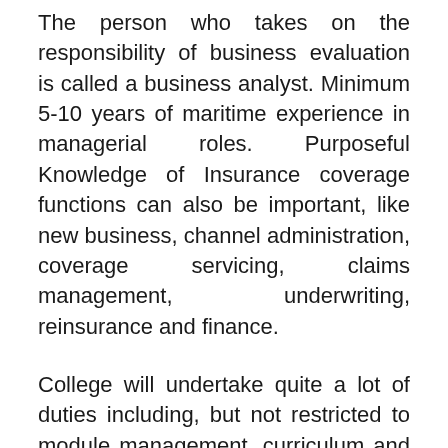The person who takes on the responsibility of business evaluation is called a business analyst. Minimum 5-10 years of maritime experience in managerial roles. Purposeful Knowledge of Insurance coverage functions can also be important, like new business, channel administration, coverage servicing, claims management, underwriting, reinsurance and finance.
College will undertake quite a lot of duties including, but not restricted to module management, curriculum and content material design, evaluation growth and marking, personal tuition, challenge supervision and training, scholar cohort and group management, as well as instructing and coaching actions (nose to nose or online by way of the Adobe Connect platform).